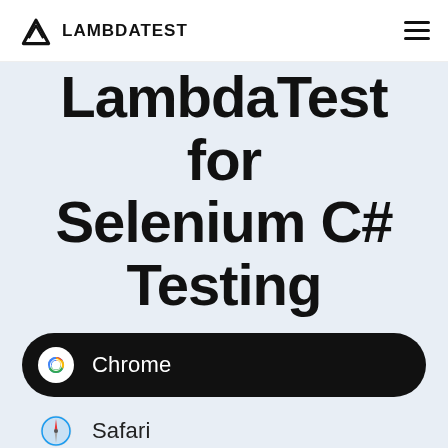LAMBDATEST (navigation bar with logo and hamburger menu)
LambdaTest for Selenium C# Testing
Chrome
Safari
Firefox
Internet Explorer